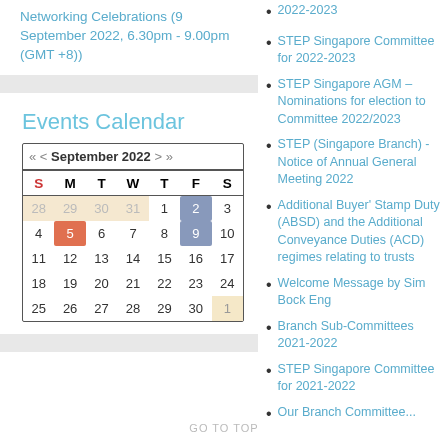Networking Celebrations (9 September 2022, 6.30pm - 9.00pm (GMT +8))
Events Calendar
[Figure (other): September 2022 calendar widget with navigation arrows. Days shown: week starting Sunday. Previous month dates 28-31 highlighted in tan. Date 5 highlighted in orange-red (today). Dates 2 and 9 highlighted in blue-gray. Date 1 in next month highlighted in tan.]
2022-2023
STEP Singapore Committee for 2022-2023
STEP Singapore AGM – Nominations for election to Committee 2022/2023
STEP (Singapore Branch) - Notice of Annual General Meeting 2022
Additional Buyer' Stamp Duty (ABSD) and the Additional Conveyance Duties (ACD) regimes relating to trusts
Welcome Message by Sim Bock Eng
Branch Sub-Committees 2021-2022
STEP Singapore Committee for 2021-2022
Our Branch Committee...